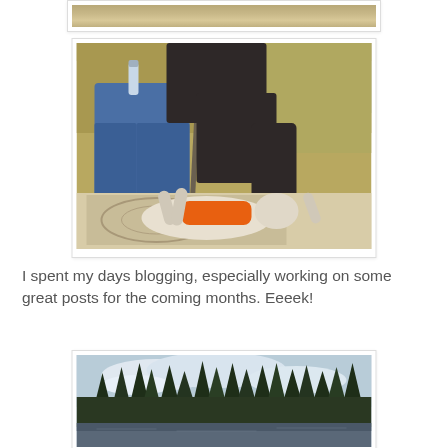[Figure (photo): Partial top of a photo showing what appears to be a dog or pet on a surface, cropped at the top of the page]
[Figure (photo): Person in blue jeans and dark brown sweatshirt sitting in a folding chair, petting a dog lying on its back on a patterned rug outdoors on a paved area, dry grass in background]
I spent my days blogging, especially working on some great posts for the coming months. Eeeek!
[Figure (photo): Landscape photo showing a lake or pond in the foreground, with a treeline of pine trees against a cloudy sky]